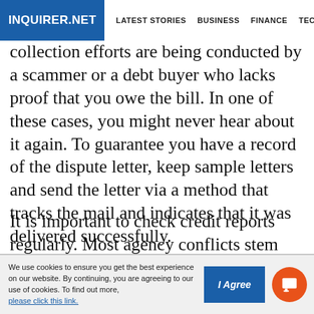INQUIRER.NET  LATEST STORIES  BUSINESS  FINANCE  TECHNOLO
collection efforts are being conducted by a scammer or a debt buyer who lacks proof that you owe the bill. In one of these cases, you might never hear about it again. To guarantee you have a record of the dispute letter, keep sample letters and send the letter via a method that tracks the mail and indicates that it was delivered successfully.
It is important to check credit reports regularly. Most agency conflicts stem from loans that clients do not even own. Collection agencies sometimes rely on faulty and unconfirmed second or third-hand information. Hence,
We use cookies to ensure you get the best experience on our website. By continuing, you are agreeing to our use of cookies. To find out more, please click this link.